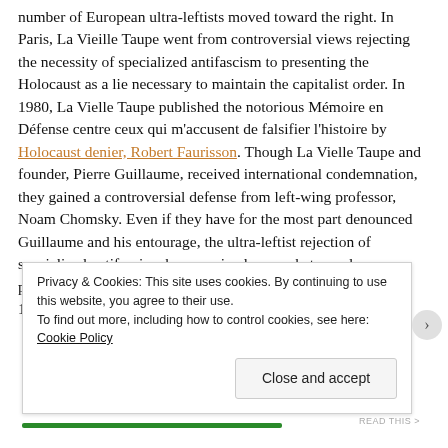number of European ultra-leftists moved toward the right. In Paris, La Vieille Taupe went from controversial views rejecting the necessity of specialized antifascism to presenting the Holocaust as a lie necessary to maintain the capitalist order. In 1980, La Vielle Taupe published the notorious Mémoire en Défense centre ceux qui m'accusent de falsifier l'histoire by Holocaust denier, Robert Faurisson. Though La Vielle Taupe and founder, Pierre Guillaume, received international condemnation, they gained a controversial defense from left-wing professor, Noam Chomsky. Even if they have for the most part denounced Guillaume and his entourage, the ultra-leftist rejection of specialized antifascism has remained somewhat popular—particularly as expounded by Dauvé, who insisted in the early 1980s that "fascism as a s...
Privacy & Cookies: This site uses cookies. By continuing to use this website, you agree to their use.
To find out more, including how to control cookies, see here: Cookie Policy
Close and accept